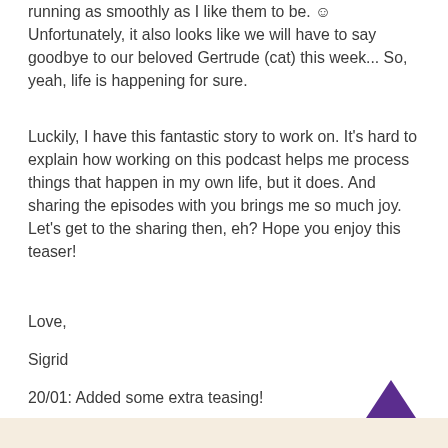running as smoothly as I like them to be. ☺ Unfortunately, it also looks like we will have to say goodbye to our beloved Gertrude (cat) this week... So, yeah, life is happening for sure.
Luckily, I have this fantastic story to work on. It's hard to explain how working on this podcast helps me process things that happen in my own life, but it does. And sharing the episodes with you brings me so much joy. Let's get to the sharing then, eh? Hope you enjoy this teaser!
Love,
Sigrid
20/01: Added some extra teasing!